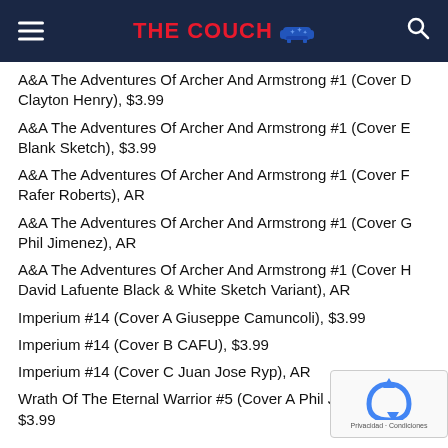THE COUCH
A&A The Adventures Of Archer And Armstrong #1 (Cover D Clayton Henry), $3.99
A&A The Adventures Of Archer And Armstrong #1 (Cover E Blank Sketch), $3.99
A&A The Adventures Of Archer And Armstrong #1 (Cover F Rafer Roberts), AR
A&A The Adventures Of Archer And Armstrong #1 (Cover G Phil Jimenez), AR
A&A The Adventures Of Archer And Armstrong #1 (Cover H David Lafuente Black & White Sketch Variant), AR
Imperium #14 (Cover A Giuseppe Camuncoli), $3.99
Imperium #14 (Cover B CAFU), $3.99
Imperium #14 (Cover C Juan Jose Ryp), AR
Wrath Of The Eternal Warrior #5 (Cover A Phil Jimenez), $3.99